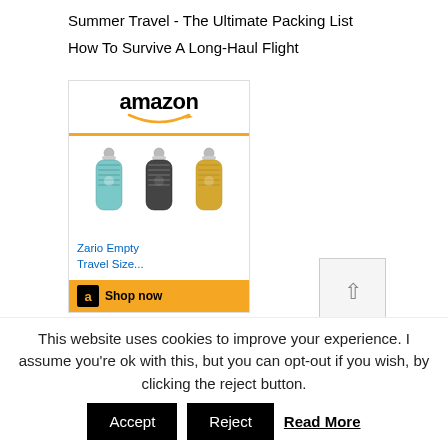Summer Travel - The Ultimate Packing List
How To Survive A Long-Haul Flight
[Figure (other): Amazon advertisement showing three Zario Empty Travel Size bottles in blue, black, and gold colors, with Amazon logo, product title 'Zario Empty Travel Size...' in blue link text, and a 'Shop now' button on an orange footer bar.]
This website uses cookies to improve your experience. I assume you're ok with this, but you can opt-out if you wish, by clicking the reject button.